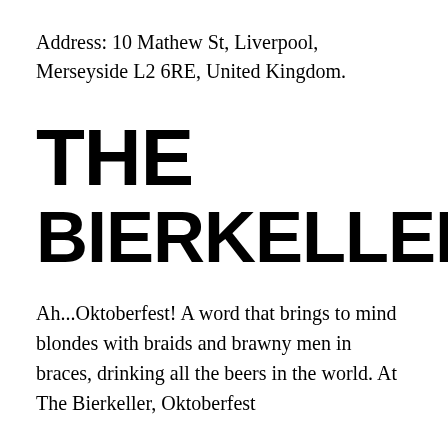Address: 10 Mathew St, Liverpool, Merseyside L2 6RE, United Kingdom.
THE BIERKELLER
Ah...Oktoberfest! A word that brings to mind blondes with braids and brawny men in braces, drinking all the beers in the world. At The Bierkeller, Oktoberfest